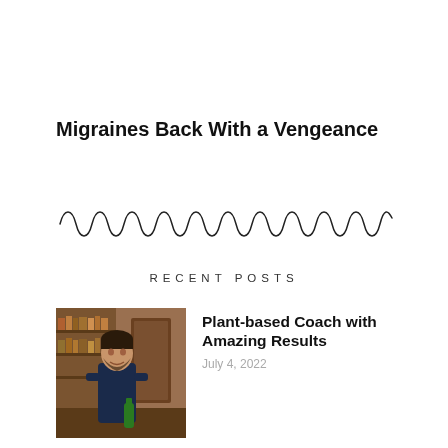Migraines Back With a Vengeance
[Figure (illustration): Decorative squiggle/wave divider line]
RECENT POSTS
[Figure (photo): Photo of a man in a dark shirt standing in a room holding a green bottle]
Plant-based Coach with Amazing Results
July 4, 2022